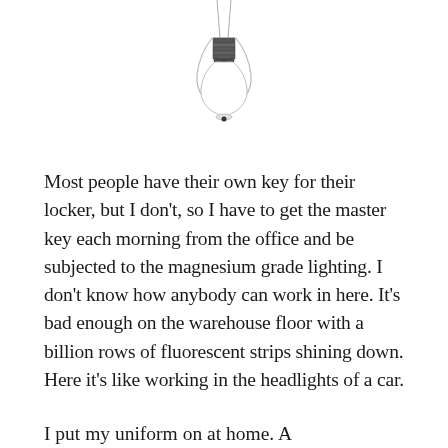[Figure (illustration): An inverted light bulb illustration, shown hanging from the top with the glass portion at top and the metal screw base visible, rendered in black and white/grayscale]
Most people have their own key for their locker, but I don't, so I have to get the master key each morning from the office and be subjected to the magnesium grade lighting. I don't know how anybody can work in here. It's bad enough on the warehouse floor with a billion rows of fluorescent strips shining down. Here it's like working in the headlights of a car.
I put my uniform on at home. A